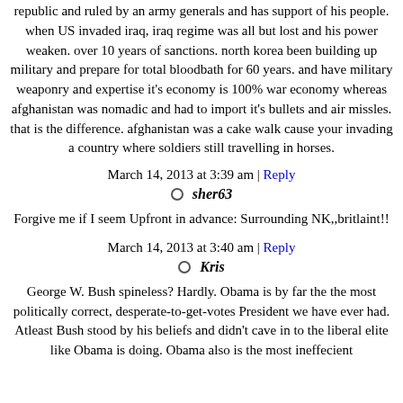republic and ruled by an army generals and has support of his people. when US invaded iraq, iraq regime was all but lost and his power weaken. over 10 years of sanctions. north korea been building up military and prepare for total bloodbath for 60 years. and have military weaponry and expertise it's economy is 100% war economy whereas afghanistan was nomadic and had to import it's bullets and air missles. that is the difference. afghanistan was a cake walk cause your invading a country where soldiers still travelling in horses.
March 14, 2013 at 3:39 am | Reply
sher63
Forgive me if I seem Upfront in advance: Surrounding NK,,britlaint!!
March 14, 2013 at 3:40 am | Reply
Kris
George W. Bush spineless? Hardly. Obama is by far the the most politically correct, desperate-to-get-votes President we have ever had. Atleast Bush stood by his beliefs and didn't cave in to the liberal elite like Obama is doing. Obama also is the most ineffecient